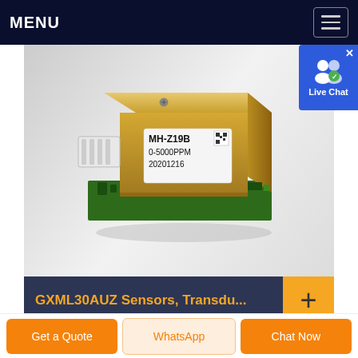MENU
[Figure (photo): Photo of MH-Z19B CO2 sensor module (gold metal housing on green PCB), labeled MH-Z19B, 0-5000PPM, 20201216 with a QR code.]
GXML30AUZ Sensors, Transdu...
GXML30AUZ Hotenda Part Number H3981607